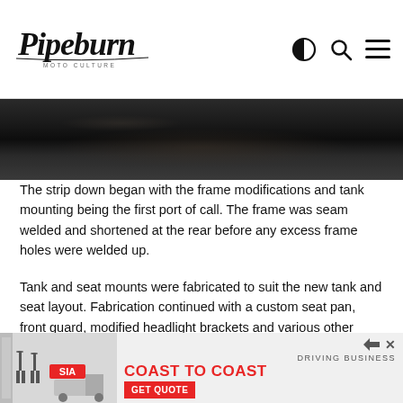Pipeburn MOTO CULTURE
[Figure (photo): Dark grainy close-up photo of a metal surface, possibly a motorcycle frame or tank, with dark tones and slight burnish marks]
The strip down began with the frame modifications and tank mounting being the first port of call. The frame was seam welded and shortened at the rear before any excess frame holes were welded up.
Tank and seat mounts were fabricated to suit the new tank and seat layout. Fabrication continued with a custom seat pan, front guard, modified headlight brackets and various other mounts.
[Figure (screenshot): Advertisement banner: Saia trucking company ad reading 'DRIVING BUSINESS COAST TO COAST' with GET QUOTE button, showing two figures near a truck]